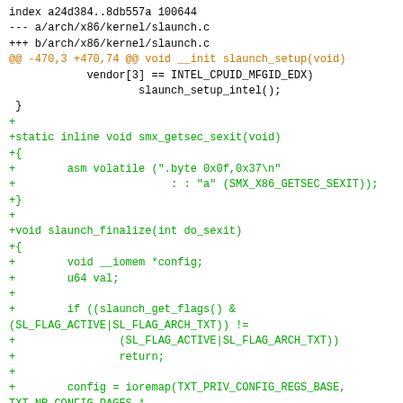index a24d384..8db557a 100644
--- a/arch/x86/kernel/slaunch.c
+++ b/arch/x86/kernel/slaunch.c
@@ -470,3 +470,74 @@ void __init slaunch_setup(void)
            vendor[3] == INTEL_CPUID_MFGID_EDX)
                    slaunch_setup_intel();
 }
+
+static inline void smx_getsec_sexit(void)
+{
+        asm volatile (".byte 0x0f,0x37\n"
+                        : : "a" (SMX_X86_GETSEC_SEXIT));
+}
+
+void slaunch_finalize(int do_sexit)
+{
+        void __iomem *config;
+        u64 one = TXT_REGVALUE_ONE, val;
+
+        if ((slaunch_get_flags() &
(SL_FLAG_ACTIVE|SL_FLAG_ARCH_TXT)) !=
+                (SL_FLAG_ACTIVE|SL_FLAG_ARCH_TXT))
+                return;
+
+        config = ioremap(TXT_PRIV_CONFIG_REGS_BASE,
TXT_NR_CONFIG_PAGES *
+                                PAGE_SIZE);
+        if (!config) {
+                pr_emerg("Error SEXIT failed to ioremap
TXT_private_regs\n");